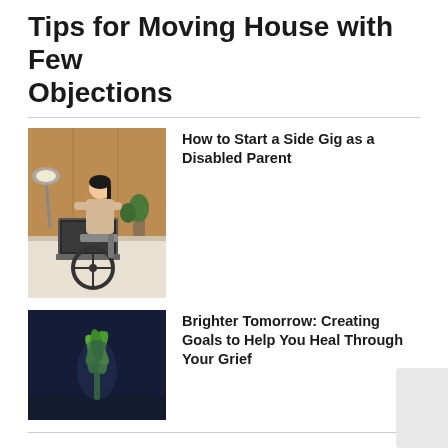Tips for Moving House with Few Objections
[Figure (photo): Person in a wheelchair working on a laptop at a desk with a lamp and plant in the background]
How to Start a Side Gig as a Disabled Parent
[Figure (photo): Small green plant seedling against a dark navy background]
Brighter Tomorrow: Creating Goals to Help You Heal Through Your Grief